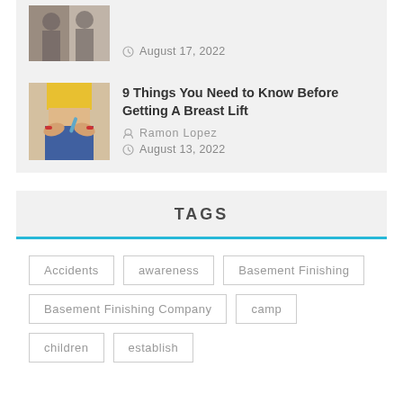[Figure (photo): Thumbnail image partially visible at top, cropped]
August 17, 2022
[Figure (photo): Thumbnail of a person showing midriff with hands on jeans waistband, wearing yellow top]
9 Things You Need to Know Before Getting A Breast Lift
Ramon Lopez
August 13, 2022
TAGS
Accidents
awareness
Basement Finishing
Basement Finishing Company
camp
children
establish